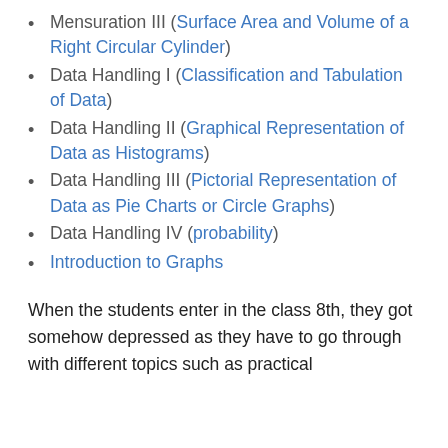Mensuration III (Surface Area and Volume of a Right Circular Cylinder)
Data Handling I (Classification and Tabulation of Data)
Data Handling II (Graphical Representation of Data as Histograms)
Data Handling III (Pictorial Representation of Data as Pie Charts or Circle Graphs)
Data Handling IV (probability)
Introduction to Graphs
When the students enter in the class 8th, they got somehow depressed as they have to go through with different topics such as practical